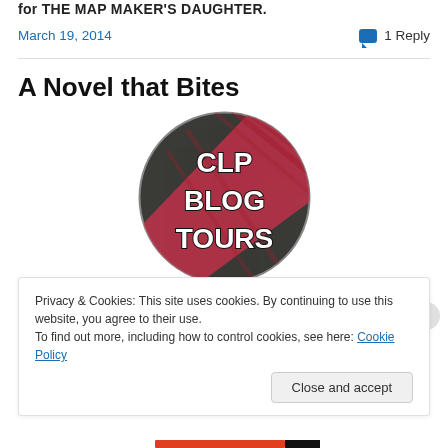for THE MAP MAKER'S DAUGHTER
March 19, 2014   💬 1 Reply
A Novel that Bites
[Figure (logo): CLP Blog Tours circular logo — dark grey circle with red diagonal stripe and text 'CLP BLOG TOURS' in bold collegiate lettering]
Privacy & Cookies: This site uses cookies. By continuing to use this website, you agree to their use.
To find out more, including how to control cookies, see here: Cookie Policy
Close and accept